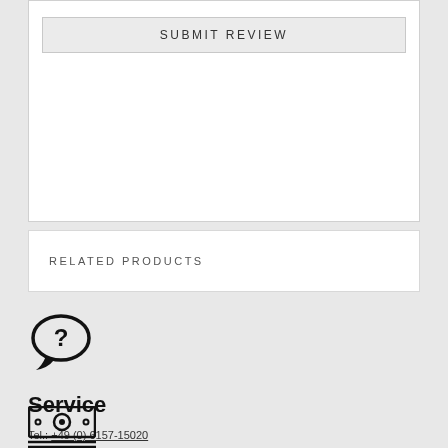SUBMIT REVIEW
RELATED PRODUCTS
[Figure (illustration): Speech bubble with question mark icon representing customer service]
Service
Tel.: +49 (0) 6157-15020
Fax: +49 (0) 6157-150222
E-mail: info@lichtwesen.com
[Figure (illustration): Money/cash icon with coin in center, decorative dots on sides, and horizontal lines below]